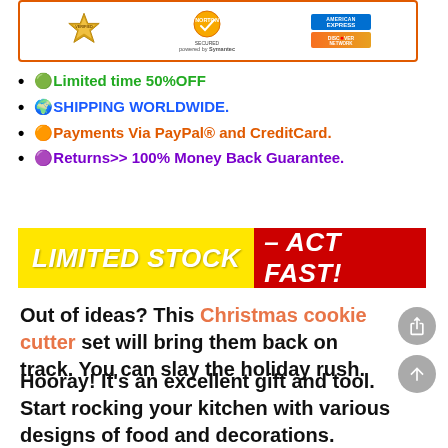[Figure (illustration): Trust badges showing VERIFIED seal, Norton SECURED powered by Symantec, American Express and Discover Network card logos in an orange-bordered box]
🟢Limited time 50%OFF
🌍SHIPPING WORLDWIDE.
🟠Payments Via PayPal® and CreditCard.
🟣Returns>> 100% Money Back Guarantee.
[Figure (infographic): LIMITED STOCK – ACT FAST! banner with yellow background for LIMITED STOCK and red background for – ACT FAST!]
Out of ideas? This Christmas cookie cutter set will bring them back on track. You can slay the holiday rush.
Hooray! It's an excellent gift and tool. Start rocking your kitchen with various designs of food and decorations.